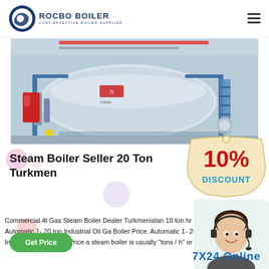ROCBO BOILER — COST-EFFECTIVE BOILER SUPPLIER
[Figure (photo): Industrial steam boiler in factory/warehouse setting, large horizontal cylindrical vessel with blue structural support frame, pipes, and ladder, red equipment on left side]
Steam Boiler Seller 20 Ton Turkmen
[Figure (infographic): 10% DISCOUNT badge in red and blue-green colors on beige tag background]
Commercial 4t Gas Steam Boiler Dealer Turkmenistan 10 ton hr price. Automatic 1- 20 ton Industrial Oil Gas Boiler Price. Automatic 1- 20 ton Industrial Oil Gas Boiler Price a steam boiler is usually "tons / h" or
[Figure (photo): Customer support representative woman wearing headset, smiling]
Get Price
7X24 Online